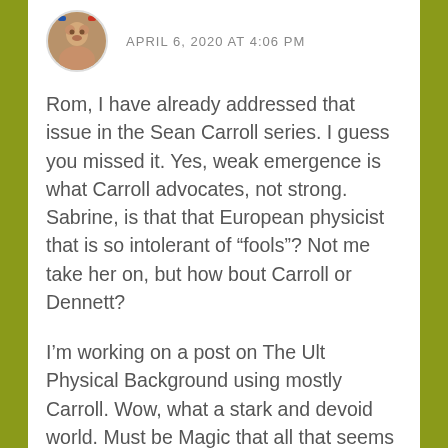APRIL 6, 2020 AT 4:06 PM
Rom, I have already addressed that issue in the Sean Carroll series. I guess you missed it. Yes, weak emergence is what Carroll advocates, not strong. Sabrine, is that that European physicist that is so intolerant of “fools”? Not me take her on, but how bout Carroll or Dennett?
I’m working on a post on The Ult Physical Background using mostly Carroll. Wow, what a stark and devoid world. Must be Magic that all that seems to be us and around us should ‘really’ be so little; and I don’t care how many incredible math equations you need to ‘understand’ it. Carroll makes it plain that its